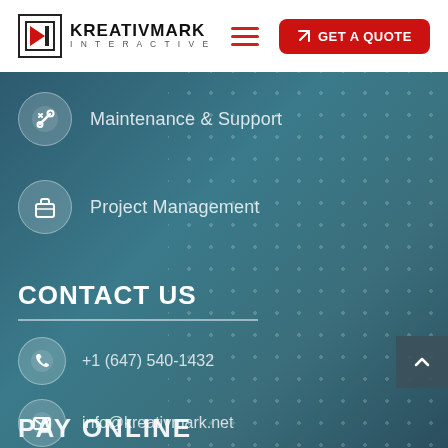KREATIVMARK INTERACTIVE — GET A QUOTE
Maintenance & Support
Project Management
CONTACT US
+1 (647) 540-1432
info@kreativmark.net
Mon-Fri | 9:00 – 18:00
PAY ONLINE